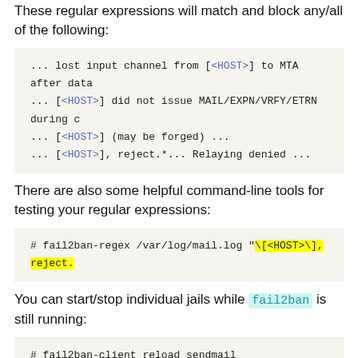These regular expressions will match and block any/all of the following:
[Figure (screenshot): Code block showing log message patterns with <HOST> placeholders: '... lost input channel from [<HOST>] to MTA after data', '... [<HOST>] did not issue MAIL/EXPN/VRFY/ETRN during c', '... [<HOST>] (may be forged) ...', '... [<HOST>], reject.*... Relaying denied ...']
There are also some helpful command-line tools for testing your regular expressions:
[Figure (screenshot): Code block showing: # fail2ban-regex /var/log/mail.log "\[<HOST>\], reject.]
You can start/stop individual jails while fail2ban is still running:
[Figure (screenshot): Code block showing: # fail2ban-client reload sendmail]